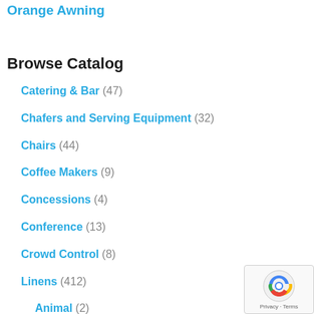Orange Awning
Browse Catalog
Catering & Bar (47)
Chafers and Serving Equipment (32)
Chairs (44)
Coffee Makers (9)
Concessions (4)
Conference (13)
Crowd Control (8)
Linens (412)
Animal (2)